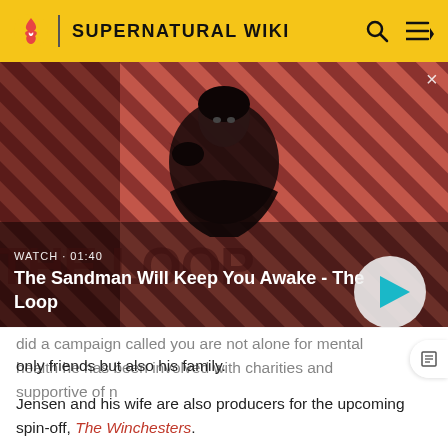SUPERNATURAL WIKI
[Figure (screenshot): Video thumbnail showing a man in black with a raven on his shoulder against a red diagonal striped background. Text overlays: 'WATCH · 01:40' and title 'The Sandman Will Keep You Awake - The Loop'. A circular play button is visible on the right.]
did a campaign called you are not alone for mental health he has been involved with charities and supportive of not only friends but also his family.
Jensen and his wife are also producers for the upcoming spin-off, The Winchesters.